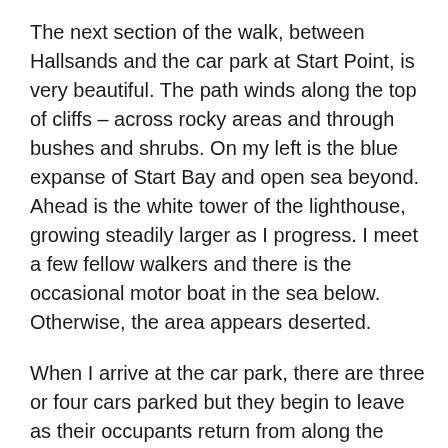The next section of the walk, between Hallsands and the car park at Start Point, is very beautiful. The path winds along the top of cliffs – across rocky areas and through bushes and shrubs. On my left is the blue expanse of Start Bay and open sea beyond. Ahead is the white tower of the lighthouse, growing steadily larger as I progress. I meet a few fellow walkers and there is the occasional motor boat in the sea below. Otherwise, the area appears deserted.
When I arrive at the car park, there are three or four cars parked but they begin to leave as their occupants return from along the track to the lighthouse. Soon I am alone.
The sun is very low and there is a chilly wind blowing in from the east. I curse myself for deciding to wear shorts today and not proper trousers,